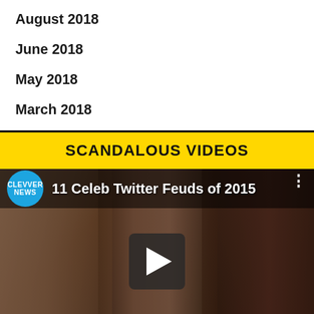August 2018
June 2018
May 2018
March 2018
SCANDALOUS VIDEOS
[Figure (screenshot): Video thumbnail from Clevver News showing three female celebrities side by side with title '11 Celeb Twitter Feuds of 2015' and a play button in the center]